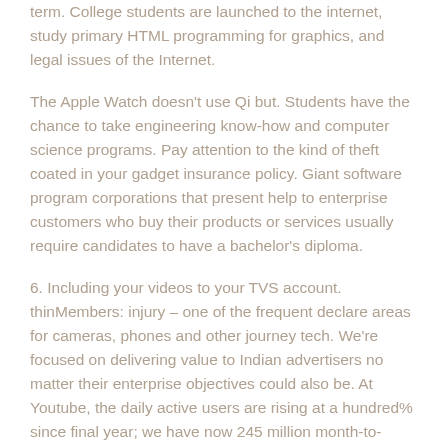term. College students are launched to the internet, study primary HTML programming for graphics, and legal issues of the Internet.
The Apple Watch doesn't use Qi but. Students have the chance to take engineering know-how and computer science programs. Pay attention to the kind of theft coated in your gadget insurance policy. Giant software program corporations that present help to enterprise customers who buy their products or services usually require candidates to have a bachelor's diploma.
6. Including your videos to your TVS account. thinMembers: injury – one of the frequent declare areas for cameras, phones and other journey tech. We're focused on delivering value to Indian advertisers no matter their enterprise objectives could also be. At Youtube, the daily active users are rising at a hundred% since final year; we have now 245 million month-to-month active users the platform,a© the spokesperson mentioned.